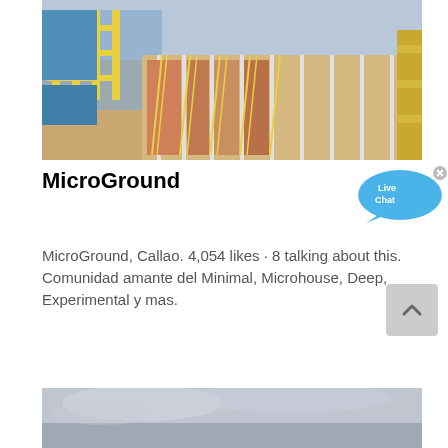[Figure (photo): Aerial/overhead view of industrial facility with yellow scaffolding, blue containers, and colorful murals or equipment below, seen from above at an angle.]
MicroGround
[Figure (infographic): Live Chat bubble icon — blue speech bubble with 'Live Chat' text and an 'x' close button.]
MicroGround, Callao. 4,054 likes · 8 talking about this. Comunidad amante del Minimal, Microhouse, Deep, Experimental y mas.
[Figure (photo): Partially visible photo at the bottom of the page showing a cloudy sky scene, cropped.]